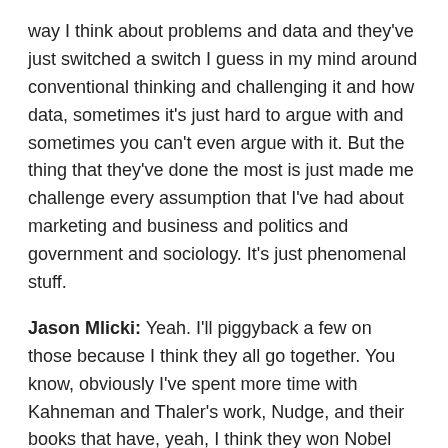way I think about problems and data and they've just switched a switch I guess in my mind around conventional thinking and challenging it and how data, sometimes it's just hard to argue with and sometimes you can't even argue with it. But the thing that they've done the most is just made me challenge every assumption that I've had about marketing and business and politics and government and sociology. It's just phenomenal stuff.
Jason Mlicki: Yeah. I'll piggyback a few on those because I think they all go together. You know, obviously I've spent more time with Kahneman and Thaler's work, Nudge, and their books that have, yeah, I think they won Nobel Prizes for or whatever, Pulitzer Prizes. And I think they all got lumped together into this world of decision dynamics and behavioral economics as it's become known. You know, why we do what we do and, and how we actually behave.
I mentioned them in the last call, but I also think a guy that